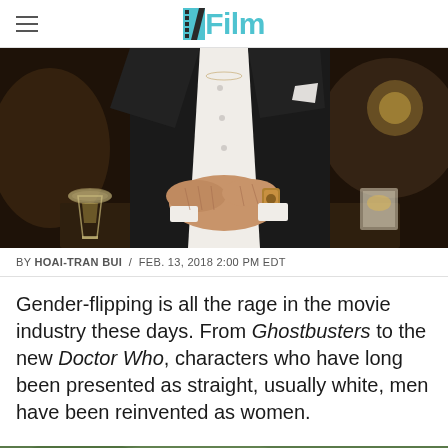/Film
[Figure (photo): A man in a black tuxedo with clasped hands resting on a table, a champagne flute visible on the left and a candlelit glass on the right, restaurant setting.]
BY HOAI-TRAN BUI / FEB. 13, 2018 2:00 PM EDT
Gender-flipping is all the rage in the movie industry these days. From Ghostbusters to the new Doctor Who, characters who have long been presented as straight, usually white, men have been reinvented as women.
[Figure (photo): Bottom partial image showing green foliage background with pink tones, partially cropped.]